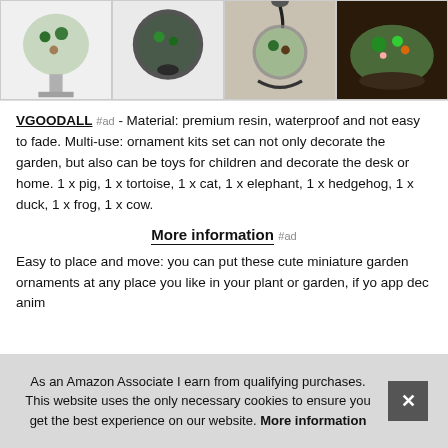[Figure (photo): Four product thumbnail images of terrarium/garden globe ornaments in a horizontal strip]
VGOODALL #ad - Material: premium resin, waterproof and not easy to fade. Multi-use: ornament kits set can not only decorate the garden, but also can be toys for children and decorate the desk or home. 1 x pig, 1 x tortoise, 1 x cat, 1 x elephant, 1 x hedgehog, 1 x duck, 1 x frog, 1 x cow.
More information #ad
Easy to place and move: you can put these cute miniature garden ornaments at any place you like in your plant or garden, if yo app dec anim
As an Amazon Associate I earn from qualifying purchases. This website uses the only necessary cookies to ensure you get the best experience on our website. More information